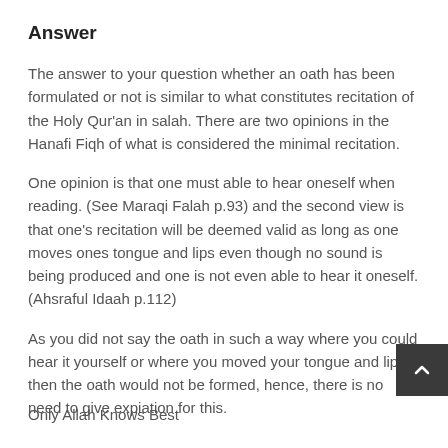Answer
The answer to your question whether an oath has been formulated or not is similar to what constitutes recitation of the Holy Qur'an in salah. There are two opinions in the Hanafi Fiqh of what is considered the minimal recitation.
One opinion is that one must able to hear oneself when reading. (See Maraqi Falah p.93) and the second view is that one's recitation will be deemed valid as long as one moves ones tongue and lips even though no sound is being produced and one is not even able to hear it oneself. (Ahsraful Idaah p.112)
As you did not say the oath in such a way where you could hear it yourself or where you moved your tongue and lips then the oath would not be formed, hence, there is no need to give expiation for this.
Only Allah Knows Best